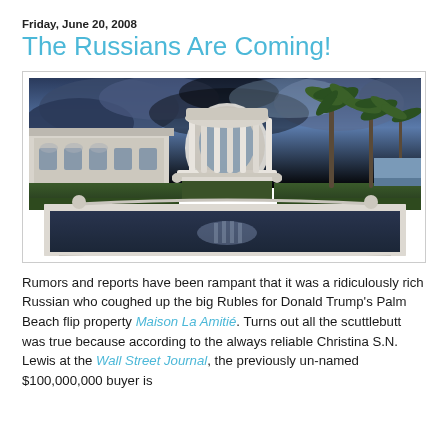Friday, June 20, 2008
The Russians Are Coming!
[Figure (photo): Exterior photo of a grand estate with a white neoclassical rotunda structure with columns, reflecting pool in the foreground, palm trees to the right, and a large mansion on the left, under a dramatic stormy sky.]
Rumors and reports have been rampant that it was a ridiculously rich Russian who coughed up the big Rubles for Donald Trump's Palm Beach flip property Maison La Amitié. Turns out all the scuttlebutt was true because according to the always reliable Christina S.N. Lewis at the Wall Street Journal, the previously un-named $100,000,000 buyer is